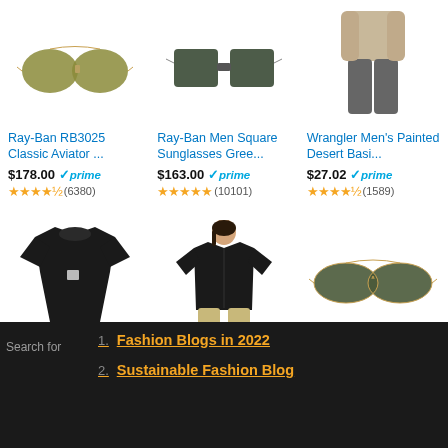[Figure (screenshot): Amazon product listing showing 6 items in a 3x2 grid: Ray-Ban RB3025 Classic Aviator, Ray-Ban Men Square Sunglasses Green, Wrangler Men's Painted Desert Basic jeans, CarharttmensForce Cotton Delmont Shirt, Columbia Women's Benton Springs Full zip fleece, Ray-Ban RB3025 Classic Aviator Sunglasses]
1. Fashion Blogs in 2022
2. Sustainable Fashion Blog
Search for